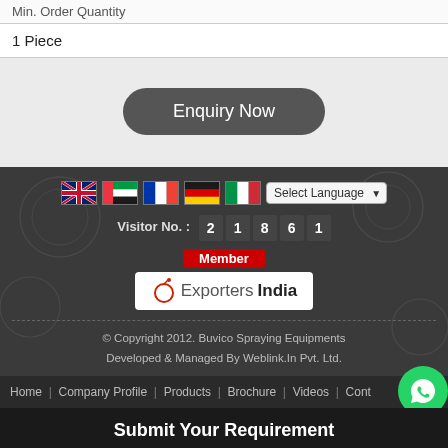| Min. Order Quantity |
| --- |
| 1 Piece |
Enquiry Now
[Figure (screenshot): Footer section with country flags (UK, UAE, France, Germany, Italy), Select Language dropdown, Visitor No. 21861, Member ExportersIndia logo, copyright notice, navigation links, and Submit Your Requirement bar]
Visitor No. : 2 1 8 6 1
Member
ExportersIndia
© Copyright 2012. Buvico Spraying Equipments
Developed & Managed By Weblink.In Pvt. Ltd.
Home | Company Profile | Products | Brochure | Videos | Cont...
Submit Your Requirement